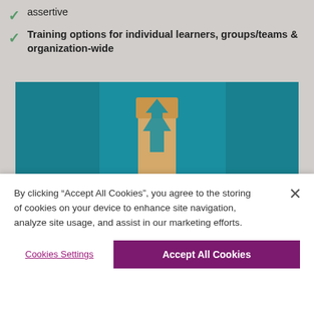assertive
Training options for individual learners, groups/teams & organization-wide
[Figure (photo): Wooden blocks stacked vertically with a blue upward arrow painted on them, against a teal/blue background, suggesting growth or progress.]
By clicking "Accept All Cookies", you agree to the storing of cookies on your device to enhance site navigation, analyze site usage, and assist in our marketing efforts.
Cookies Settings
Accept All Cookies